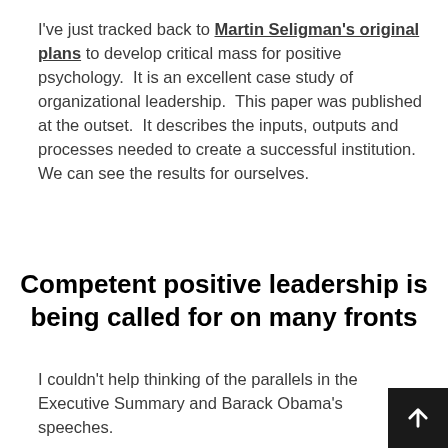I've just tracked back to Martin Seligman's original plans to develop critical mass for positive psychology. It is an excellent case study of organizational leadership. This paper was published at the outset. It describes the inputs, outputs and processes needed to create a successful institution. We can see the results for ourselves.
Competent positive leadership is being called for on many fronts
I couldn't help thinking of the parallels in the Executive Summary and Barack Obama's speeches.